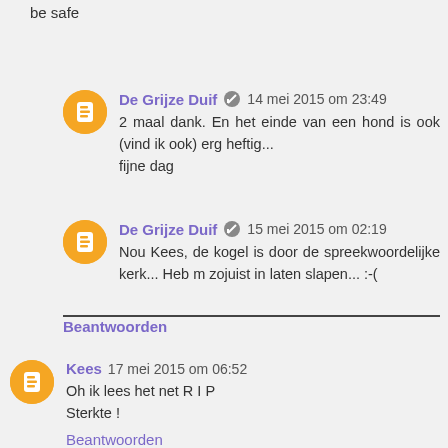be safe
De Grijze Duif  14 mei 2015 om 23:49
2 maal dank. En het einde van een hond is ook (vind ik ook) erg heftig...
fijne dag
De Grijze Duif  15 mei 2015 om 02:19
Nou Kees, de kogel is door de spreekwoordelijke kerk... Heb m zojuist in laten slapen... :-(
Beantwoorden
Kees  17 mei 2015 om 06:52
Oh ik lees het net R I P
Sterkte !
Beantwoorden